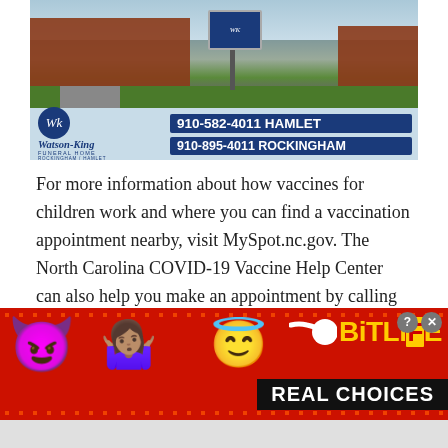[Figure (photo): Watson-King Funeral Home advertisement showing a photo of a brick building with lawn and sign, phone numbers 910-582-4011 HAMLET and 910-895-4011 ROCKINGHAM]
For more information about how vaccines for children work and where you can find a vaccination appointment nearby, visit MySpot.nc.gov. The North Carolina COVID-19 Vaccine Help Center can also help you make an appointment by calling 888-675-4567. The help center is open 7 a.m.-7 p.m. on weekdays and 8 a.m.-4 p.m. on weekends.
[Figure (illustration): BitLife game advertisement banner with red background, devil emoji, person emoji, angel emoji, sperm graphic, BitLife logo in yellow, and REAL CHOICES text in white on black background]